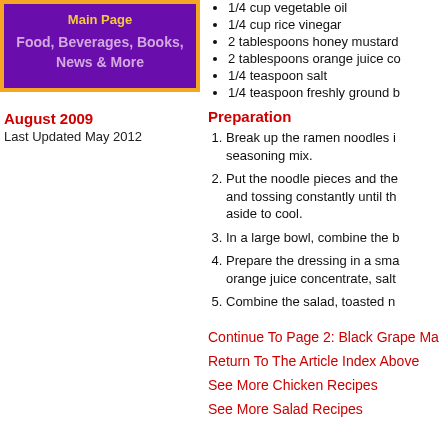[Figure (other): Purple navigation box with orange border showing 'Main Page' and 'Food, Beverages, Books, News & More']
August 2009
Last Updated May 2012
1/4 cup vegetable oil
1/4 cup rice vinegar
2 tablespoons honey mustard
2 tablespoons orange juice concentrate
1/4 teaspoon salt
1/4 teaspoon freshly ground black pepper
Preparation
Break up the ramen noodles in the bag; reserve the seasoning mix.
Put the noodle pieces and the almonds in a skillet and tossing constantly until the noodles are toasted. Set aside to cool.
In a large bowl, combine the broccoli slaw mix.
Prepare the dressing in a small bowl: mix vinegar, orange juice concentrate, salt and pepper.
Combine the salad, toasted noodles, and dressing.
Continue To Page 2: Black Grape Ma...
Return To The Article Index Above
See More Chicken Recipes
See More Salad Recipes